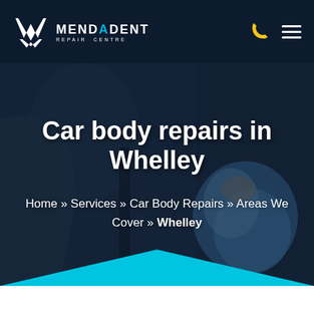[Figure (logo): MendaDent Repair Centre logo — white M chevron mark above the text MENDADENT in white with A in cyan, REPAIR CENTRE in small white spaced caps, on dark navy background]
Car body repairs in Whelley
Home » Services » Car Body Repairs » Areas We Cover » Whelley
[Figure (photo): Background hero photo showing a person in work overalls holding a blue microfibre cloth, dark navy overlay applied]